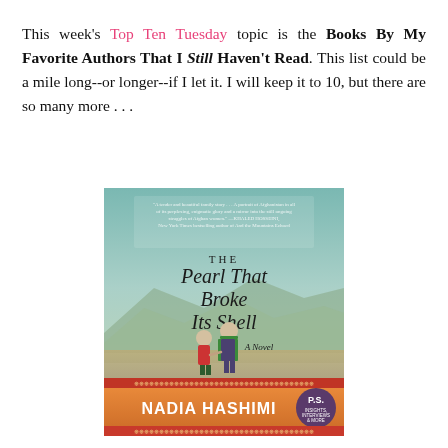This week's Top Ten Tuesday topic is the Books By My Favorite Authors That I Still Haven't Read. This list could be a mile long--or longer--if I let it. I will keep it to 10, but there are so many more . . .
[Figure (photo): Book cover of 'The Pearl That Broke Its Shell' by Nadia Hashimi. Shows two women in traditional Afghan clothing walking hand in hand against a mountainous landscape background. The cover has a decorative border at the bottom and an orange band with the author's name.]